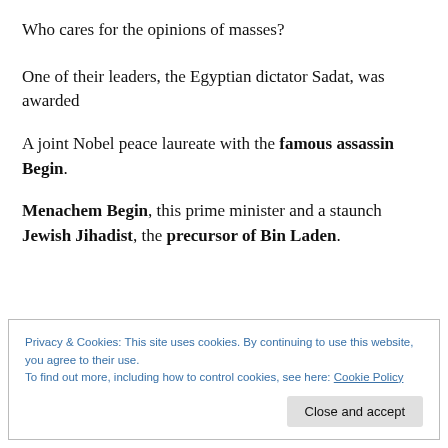Who cares for the opinions of masses?
One of their leaders, the Egyptian dictator Sadat, was awarded
A joint Nobel peace laureate with the famous assassin Begin.
Menachem Begin, this prime minister and a staunch Jewish Jihadist, the precursor of Bin Laden.
Privacy & Cookies: This site uses cookies. By continuing to use this website, you agree to their use.
To find out more, including how to control cookies, see here: Cookie Policy
Close and accept